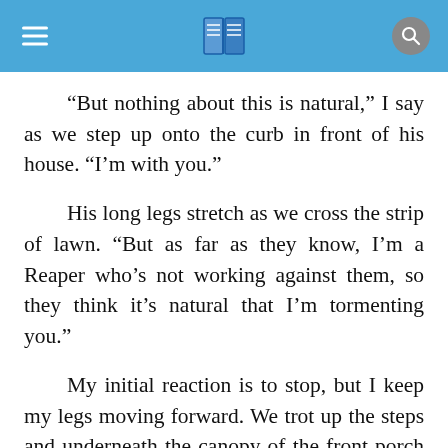“But nothing about this is natural,” I say as we step up onto the curb in front of his house. “I’m with you.”
His long legs stretch as we cross the strip of lawn. “But as far as they know, I’m a Reaper who’s not working against them, so they think it’s natural that I’m tormenting you.”
My initial reaction is to stop, but I keep my legs moving forward. We trot up the steps and underneath the canopy of the front porch that belongs to his small, two-story house. There are